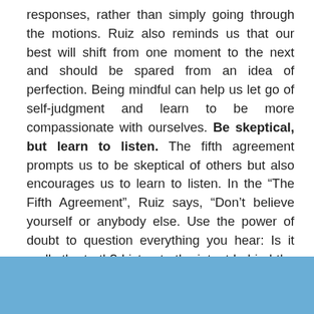responses, rather than simply going through the motions. Ruiz also reminds us that our best will shift from one moment to the next and should be spared from an idea of perfection. Being mindful can help us let go of self-judgment and learn to be more compassionate with ourselves. Be skeptical, but learn to listen. The fifth agreement prompts us to be skeptical of others but also encourages us to learn to listen. In the “The Fifth Agreement”, Ruiz says, “Don’t believe yourself or anybody else. Use the power of doubt to question everything you hear: Is it really the truth? Listen to the intent behind the words, and you will understand the real message.”
[Figure (other): Solid light blue rectangle at the bottom of the page]